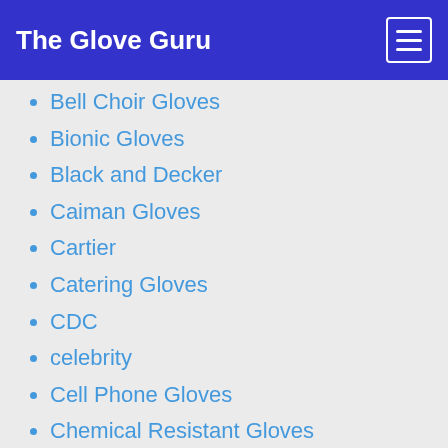The Glove Guru
Bell Choir Gloves
Bionic Gloves
Black and Decker
Caiman Gloves
Cartier
Catering Gloves
CDC
celebrity
Cell Phone Gloves
Chemical Resistant Gloves
Children's Gloves
Chinchilla
Christmas
Christmas Gloves
Church Gloves